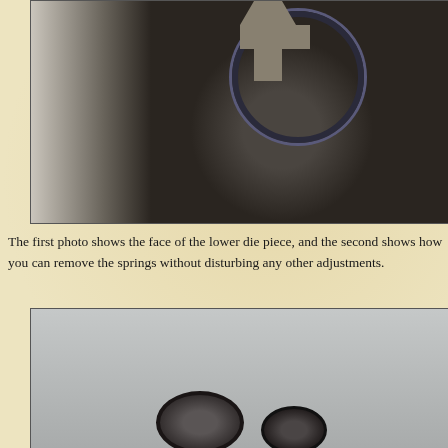[Figure (photo): Close-up photo of the face of a lower die piece, showing a circular ring element and a rectangular metal component on a dark metal surface. The left side shows a blurred lighter area.]
The first photo shows the face of the lower die piece, and the second shows how you can remove the springs without disturbing any other adjustments.
[Figure (photo): Photo showing mechanical components (springs or rings) against a light gray background, with two dark circular ring/coil elements visible at the bottom.]